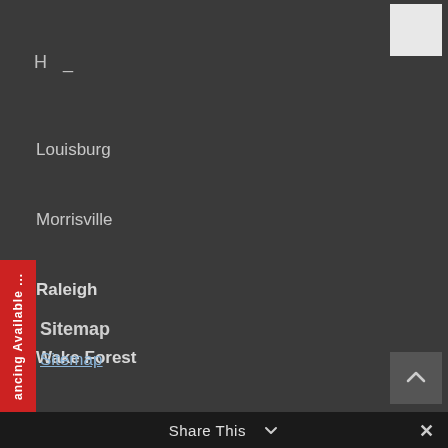H _
Louisburg
Morrisville
Raleigh
Wake Forest
Zebulon
Sitemap
Sitemap
ancing Available ...
Share This  ∨   ✕